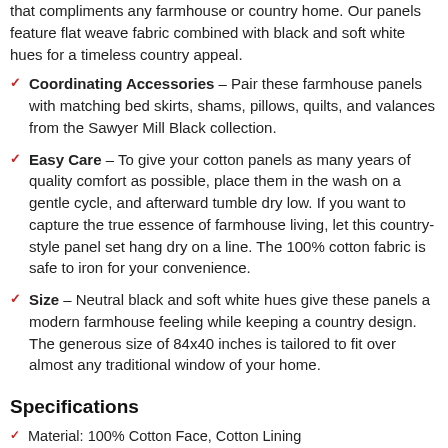that compliments any farmhouse or country home. Our panels feature flat weave fabric combined with black and soft white hues for a timeless country appeal.
Coordinating Accessories - Pair these farmhouse panels with matching bed skirts, shams, pillows, quilts, and valances from the Sawyer Mill Black collection.
Easy Care - To give your cotton panels as many years of quality comfort as possible, place them in the wash on a gentle cycle, and afterward tumble dry low. If you want to capture the true essence of farmhouse living, let this country-style panel set hang dry on a line. The 100% cotton fabric is safe to iron for your convenience.
Size - Neutral black and soft white hues give these panels a modern farmhouse feeling while keeping a country design. The generous size of 84x40 inches is tailored to fit over almost any traditional window of your home.
Specifications
Material: 100% Cotton Face, Cotton Lining
Colors: Country Black, Soft White
Straps: N/A strap - N/A" long with N/A" drop